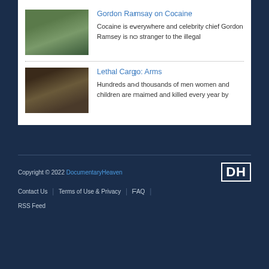Gordon Ramsay on Cocaine
Cocaine is everywhere and celebrity chief Gordon Ramsey is no stranger to the illegal
Lethal Cargo: Arms
Hundreds and thousands of men women and children are maimed and killed every year by
Copyright © 2022 DocumentaryHeaven | Contact Us | Terms of Use & Privacy | FAQ | RSS Feed